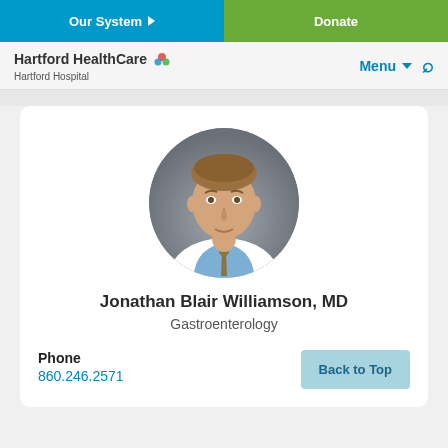Our System | Donate
[Figure (logo): Hartford HealthCare Hartford Hospital logo with colorful circular icon]
[Figure (photo): Circular headshot photo of Dr. Jonathan Blair Williamson in white coat and blue shirt with tie]
Jonathan Blair Williamson, MD
Gastroenterology
Phone
860.246.2571